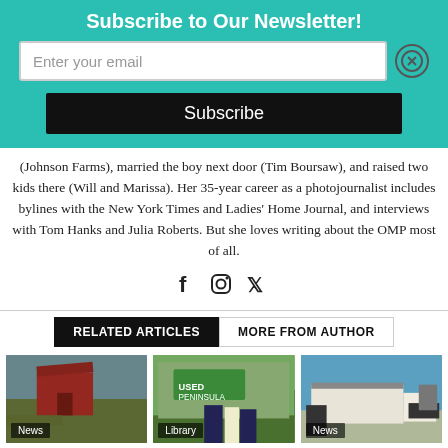Subscribe to Our Newsletter!
Enter your email
Subscribe
(Johnson Farms), married the boy next door (Tim Boursaw), and raised two kids there (Will and Marissa). Her 35-year career as a photojournalist includes bylines with the New York Times and Ladies' Home Journal, and interviews with Tom Hanks and Julia Roberts. But she loves writing about the OMP most of all.
RELATED ARTICLES | MORE FROM AUTHOR
Old Mission News & Photos: Lavender, Cherries, Fire Staff,
Library Book Sale is This Week
Legion News: A New Roof and This Week's Dinner Menu
[Figure (photo): Red barn in farm field at sunset]
[Figure (photo): Three people standing in front of Used Book Sale sign]
[Figure (photo): Building with new roof construction under blue sky]